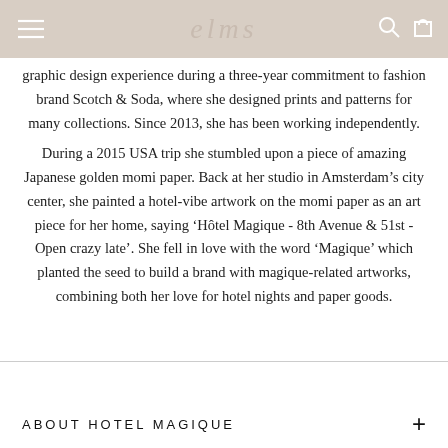elms
graphic design experience during a three-year commitment to fashion brand Scotch & Soda, where she designed prints and patterns for many collections. Since 2013, she has been working independently.
During a 2015 USA trip she stumbled upon a piece of amazing Japanese golden momi paper. Back at her studio in Amsterdam’s city center, she painted a hotel-vibe artwork on the momi paper as an art piece for her home, saying ‘Hôtel Magique - 8th Avenue & 51st - Open crazy late’. She fell in love with the word ‘Magique’ which planted the seed to build a brand with magique-related artworks, combining both her love for hotel nights and paper goods.
ABOUT HOTEL MAGIQUE